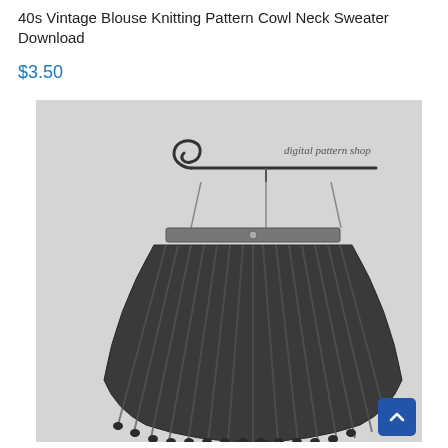40s Vintage Blouse Knitting Pattern Cowl Neck Sweater Download
$3.50
[Figure (illustration): Vintage black and white photograph of a knitted handbag with ribbed texture hanging from a decorative metal hanger frame. The bag has a fan/scallop shape with vertical ribs and a metal clasp frame at the top. A watermark reads 'digital pattern shop'.]